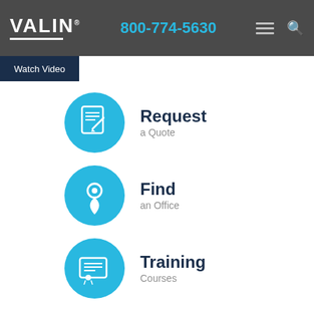VALIN® | 800-774-5630
Watch Video
[Figure (infographic): Cyan circle with a document/quote icon representing Request a Quote]
Request
a Quote
[Figure (infographic): Cyan circle with a map pin/location icon representing Find an Office]
Find
an Office
[Figure (infographic): Cyan circle with a certificate/training icon representing Training Courses]
Training
Courses